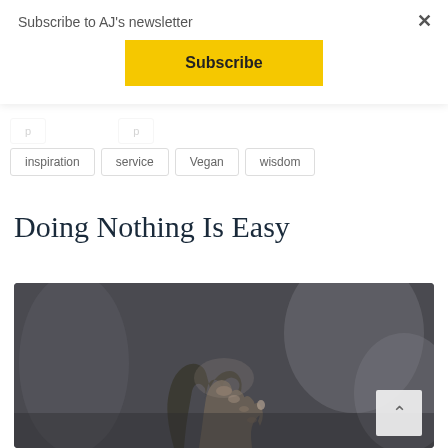Subscribe to AJ's newsletter
Subscribe
×
inspiration
service
Vegan
wisdom
Doing Nothing Is Easy
[Figure (photo): Black and white photo of two people holding hands, close-up of clasped hands with blurred figures in background]